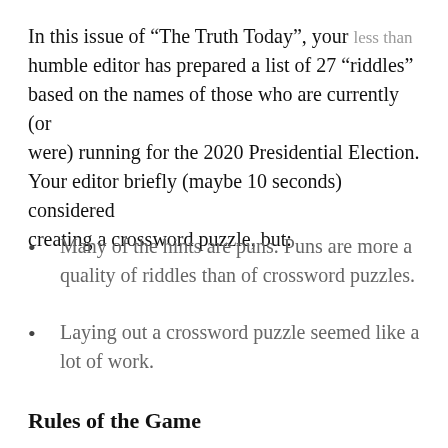In this issue of “The Truth Today”, your less than humble editor has prepared a list of 27 “riddles” based on the names of those who are currently (or were) running for the 2020 Presidential Election. Your editor briefly (maybe 10 seconds) considered creating a crossword puzzle, but:
Many of the hints are puns. Puns are more a quality of riddles than of crossword puzzles.
Laying out a crossword puzzle seemed like a lot of work.
Rules of the Game